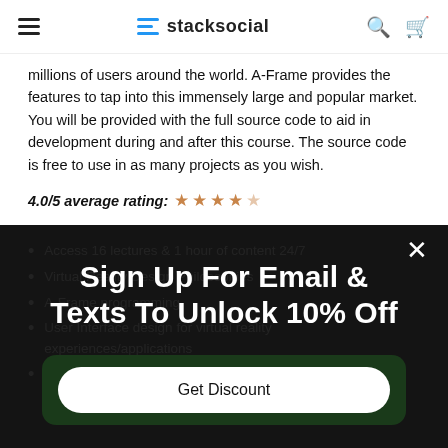stacksocial
millions of users around the world. A-Frame provides the features to tap into this immensely large and popular market. You will be provided with the full source code to aid in development during and after this course. The source code is free to use in as many projects as you wish.
4.0/5 average rating: ★ ★ ★ ★ ☆
Access 16 lectures & 1 hour of content 24/7
Virtual Reality Design Philosophies
A-Frame programming
User Interface design for virtual reality experiences/applications
Cross-site programming. Between types of a...
Sign Up For Email & Texts To Unlock 10% Off
Get Discount